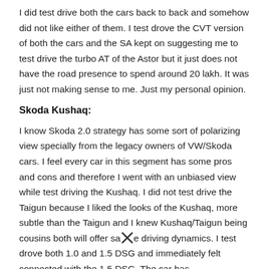I did test drive both the cars back to back and somehow did not like either of them. I test drove the CVT version of both the cars and the SA kept on suggesting me to test drive the turbo AT of the Astor but it just does not have the road presence to spend around 20 lakh. It was just not making sense to me. Just my personal opinion.
Skoda Kushaq:
I know Skoda 2.0 strategy has some sort of polarizing view specially from the legacy owners of VW/Skoda cars. I feel every car in this segment has some pros and cons and therefore I went with an unbiased view while test driving the Kushaq. I did not test drive the Taigun because I liked the looks of the Kushaq, more subtle than the Taigun and I knew Kushaq/Taigun being cousins both will offer same driving dynamics. I test drove both 1.0 and 1.5 DSG and immediately felt connected with the 1.5 DSG. The car has